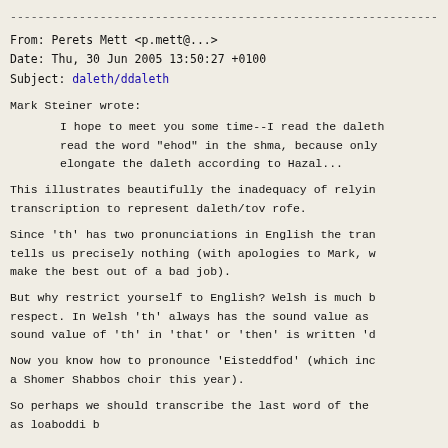-------------------------------------------------------------------------
From: Perets Mett <p.mett@...>
Date: Thu, 30 Jun 2005 13:50:27 +0100
Subject: daleth/ddaleth
Mark Steiner wrote:
I hope to meet you some time--I read the daleth read the word "ehod" in the shma, because only elongate the daleth according to Hazal...
This illustrates beautifully the inadequacy of relying on transcription to represent daleth/tov rofe.
Since 'th' has two pronunciations in English the tran tells us precisely nothing (with apologies to Mark, w make the best out of a bad job).
But why restrict yourself to English? Welsh is much b respect. In Welsh 'th' always has the sound value as sound value of 'th' in 'that' or 'then' is written 'd
Now you know how to pronounce 'Eisteddfod' (which inc a Shomer Shabbos choir this year).
So perhaps we should transcribe the last word of the as loaboddi b